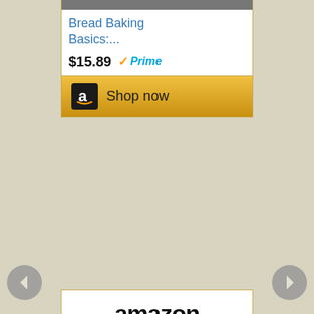[Figure (screenshot): Amazon ad widget (top, partial) showing 'Bread Baking Basics:...' for $15.89 with Prime badge and Shop now button]
[Figure (screenshot): Amazon ad widget showing book 'Hook, Line and Supper: New...' for $32.95 with Prime badge and Shop now button, with Amazon logo at top and book cover images]